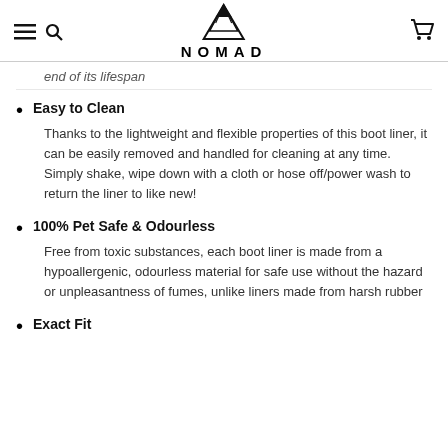NOMAD
end of its lifespan
Easy to Clean — Thanks to the lightweight and flexible properties of this boot liner, it can be easily removed and handled for cleaning at any time. Simply shake, wipe down with a cloth or hose off/power wash to return the liner to like new!
100% Pet Safe & Odourless — Free from toxic substances, each boot liner is made from a hypoallergenic, odourless material for safe use without the hazard or unpleasantness of fumes, unlike liners made from harsh rubber
Exact Fit